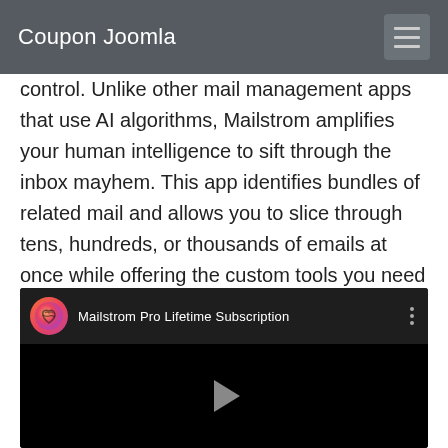Coupon Joomla
control. Unlike other mail management apps that use AI algorithms, Mailstrom amplifies your human intelligence to sift through the inbox mayhem. This app identifies bundles of related mail and allows you to slice through tens, hundreds, or thousands of emails at once while offering the custom tools you need to find the management method that’s best for you.
[Figure (screenshot): YouTube-style video embed showing 'Mailstrom Pro Lifetime Subscription' with channel icon (gradient pink/orange with hands illustration), video title text, three-dot menu, and black video area with a play button triangle in the center.]